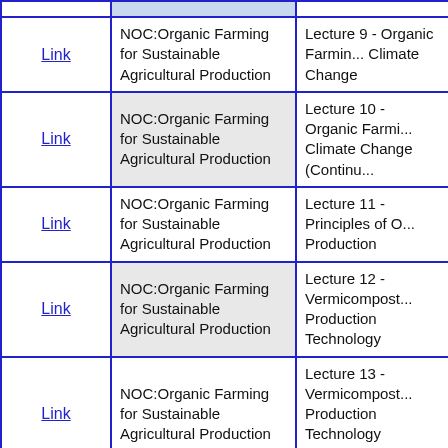| Link | Course | Lecture |
| --- | --- | --- |
| Link | NOC:Organic Farming for Sustainable Agricultural Production | Lecture 9 - Organic Farming and Climate Change |
| Link | NOC:Organic Farming for Sustainable Agricultural Production | Lecture 10 - Organic Farming and Climate Change (Continued...) |
| Link | NOC:Organic Farming for Sustainable Agricultural Production | Lecture 11 - Principles of Organic Production |
| Link | NOC:Organic Farming for Sustainable Agricultural Production | Lecture 12 - Vermicompost Production Technology |
| Link | NOC:Organic Farming for Sustainable Agricultural Production | Lecture 13 - Vermicompost Production Technology (Continued...) |
| Link | NOC:Organic Farming for Sustainable Agricultural Production | Lecture 14 - Vermicompost Production Technology (Continued...) |